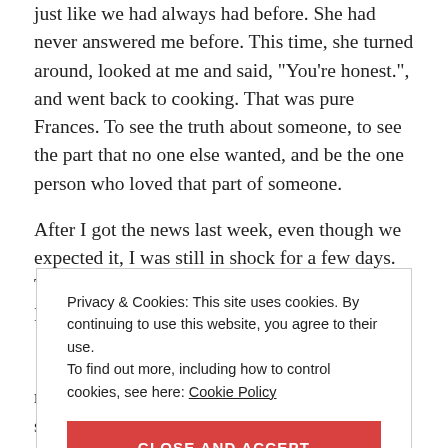just like we had always had before. She had never answered me before. This time, she turned around, looked at me and said, "You're honest.", and went back to cooking. That was pure Frances. To see the truth about someone, to see the part that no one else wanted, and be the one person who loved that part of someone.
After I got the news last week, even though we expected it, I was still in shock for a few days. Today though, here's my truth, and my newest Frances story...
Privacy & Cookies: This site uses cookies. By continuing to use this website, you agree to their use.
To find out more, including how to control cookies, see here: Cookie Policy
CLOSE AND ACCEPT
minute, and I heard Frances' voice in my heart, saying,